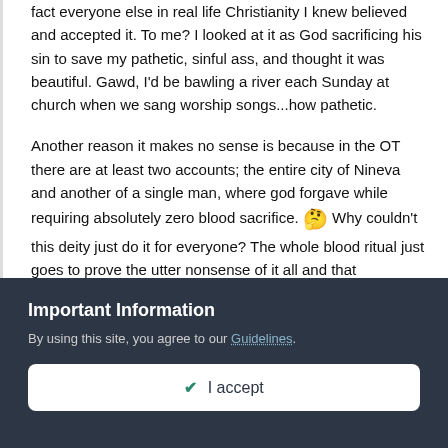fact everyone else in real life Christianity I knew believed and accepted it. To me? I looked at it as God sacrificing his sin to save my pathetic, sinful ass, and thought it was beautiful. Gawd, I'd be bawling a river each Sunday at church when we sang worship songs...how pathetic.
Another reason it makes no sense is because in the OT there are at least two accounts; the entire city of Nineva and another of a single man, where god forgave while requiring absolutely zero blood sacrifice. 🐙 Why couldn't this deity just do it for everyone? The whole blood ritual just goes to prove the utter nonsense of it all and that apologetic books abound on the subject even further it's stupidity.
Important Information
By using this site, you agree to our Guidelines.
✔ I accept